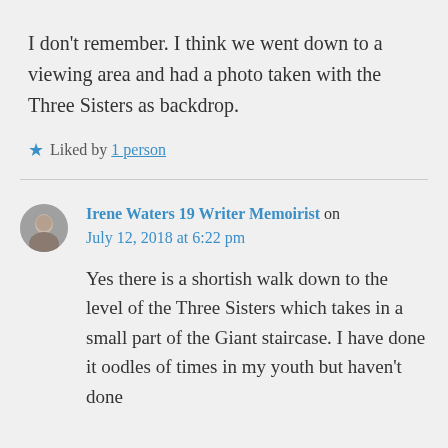I don't remember. I think we went down to a viewing area and had a photo taken with the Three Sisters as backdrop.
Liked by 1 person
Irene Waters 19 Writer Memoirist on July 12, 2018 at 6:22 pm
Yes there is a shortish walk down to the level of the Three Sisters which takes in a small part of the Giant staircase. I have done it oodles of times in my youth but haven't done